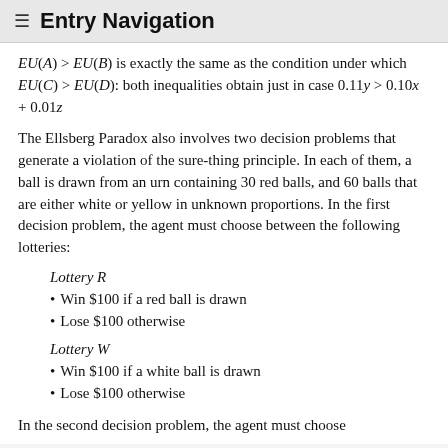≡ Entry Navigation
EU(A) > EU(B) is exactly the same as the condition under which EU(C) > EU(D): both inequalities obtain just in case 0.11y > 0.10x + 0.01z
The Ellsberg Paradox also involves two decision problems that generate a violation of the sure-thing principle. In each of them, a ball is drawn from an urn containing 30 red balls, and 60 balls that are either white or yellow in unknown proportions. In the first decision problem, the agent must choose between the following lotteries:
Lottery R
Win $100 if a red ball is drawn
Lose $100 otherwise
Lottery W
Win $100 if a white ball is drawn
Lose $100 otherwise
In the second decision problem, the agent must choose between the following lotteries: